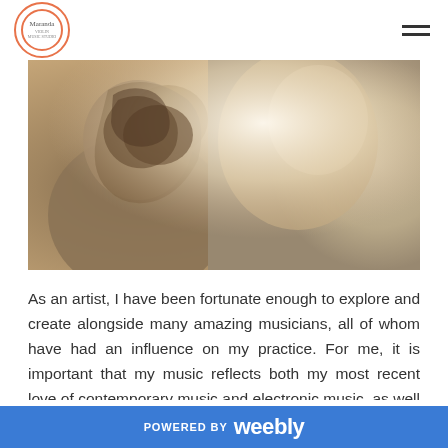Logo / navigation header with hamburger menu
[Figure (photo): Close-up photo of a person with brown hair viewed from behind and side, soft warm lighting with blurred background]
As an artist, I have been fortunate enough to explore and create alongside many amazing musicians, all of whom have had an influence on my practice. For me, it is important that my music reflects both my most recent love of contemporary music and electronic music, as well as the film scores and rock bands which first influenced
POWERED BY weebly